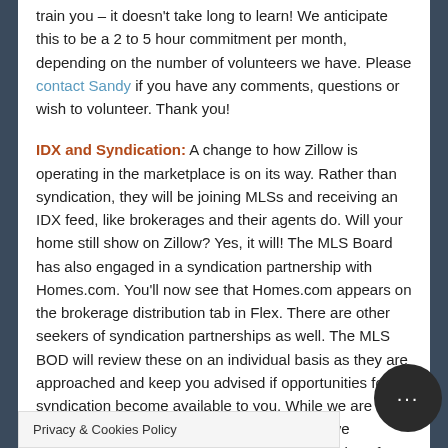train you – it doesn't take long to learn!  We anticipate this to be a 2 to 5 hour commitment per month, depending on the number of volunteers we have.  Please contact Sandy if you have any comments, questions or wish to volunteer.  Thank you!
IDX and Syndication:  A change to how Zillow is operating in the marketplace is on its way.  Rather than syndication, they will be joining MLSs and receiving an IDX feed, like brokerages and their agents do.  Will your home still show on Zillow?  Yes, it will!  The MLS Board has also engaged in a syndication partnership with Homes.com.  You'll now see that Homes.com appears on the brokerage distribution tab in Flex.  There are other seekers of syndication partnerships as well.  The MLS BOD will review these on an individual basis as they are approached and keep you advised if opportunities for syndication become available to you.  While we are putting together the website audit taskforce, we encourage you to review IDX rules and regulations for yourself to ensure you
Privacy & Cookies Policy